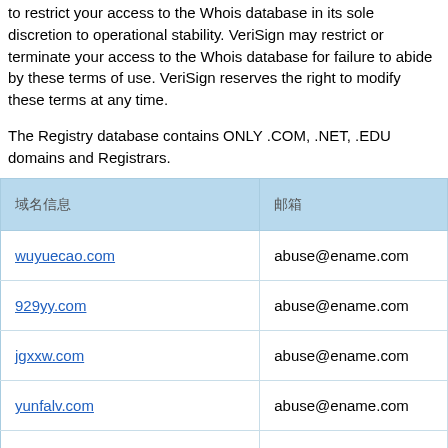to restrict your access to the Whois database in its sole discretion to operational stability. VeriSign may restrict or terminate your access to the Whois database for failure to abide by these terms of use. VeriSign reserves the right to modify these terms at any time.
The Registry database contains ONLY .COM, .NET, .EDU domains and Registrars.
| 域名信息 | 邮箱 |
| --- | --- |
| wuyuecao.com | abuse@ename.com |
| 929yy.com | abuse@ename.com |
| jgxxw.com | abuse@ename.com |
| yunfalv.com | abuse@ename.com |
| glny.net | abuse@ename.com |
| ob28.com | abuse@ename.com |